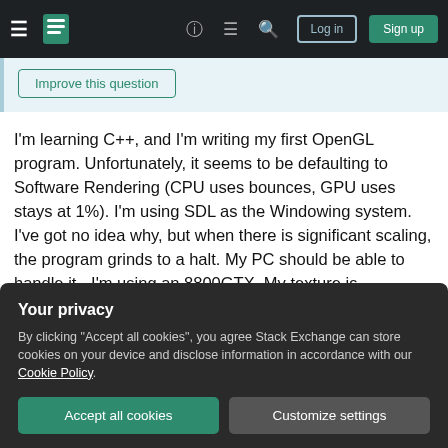≡  [Stack Exchange logo]  ?  ≡  🔍  Log in  Sign up
Improve this question
I'm learning C++, and I'm writing my first OpenGL program. Unfortunately, it seems to be defaulting to Software Rendering (CPU uses bounces, GPU uses stays at 1%). I'm using SDL as the Windowing system. I've got no idea why, but when there is significant scaling, the program grinds to a halt. My PC should be able to handle it - I'm using an 8800GTX. My texture is 1024x1024, 32 bit RGBA
Your privacy
By clicking "Accept all cookies", you agree Stack Exchange can store cookies on your device and disclose information in accordance with our Cookie Policy.
Accept all cookies
Customize settings